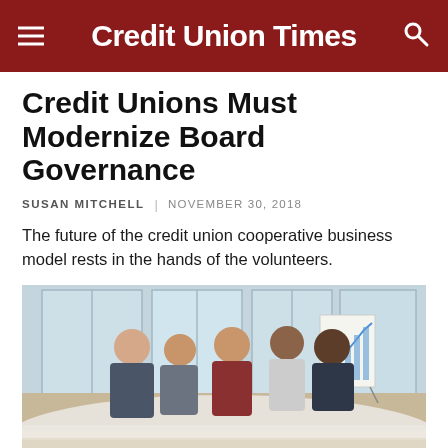Credit Union Times
Credit Unions Must Modernize Board Governance
SUSAN MITCHELL | NOVEMBER 30, 2018
The future of the credit union cooperative business model rests in the hands of the volunteers.
[Figure (photo): Business people seated around a conference table in a meeting room with large windows; a flip chart with a rising bar/line graph is visible in the background.]